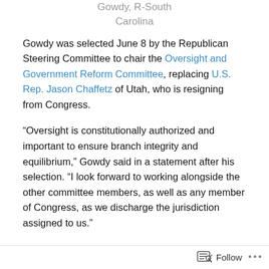Gowdy, R-South Carolina
Gowdy was selected June 8 by the Republican Steering Committee to chair the Oversight and Government Reform Committee, replacing U.S. Rep. Jason Chaffetz of Utah, who is resigning from Congress.
“Oversight is constitutionally authorized and important to ensure branch integrity and equilibrium,” Gowdy said in a statement after his selection. “I look forward to working alongside the other committee members, as well as any member of Congress, as we discharge the jurisdiction assigned to us.”
Gowdy, 52, a former federal and state prosecutor in South Carolina, built his fortune...
Follow ...